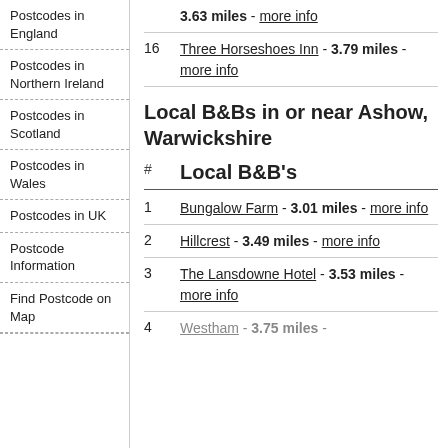Postcodes in England
Postcodes in Northern Ireland
Postcodes in Scotland
Postcodes in Wales
Postcodes in UK
Postcode Information
Find Postcode on Map
3.63 miles - more info
16   Three Horseshoes Inn - 3.79 miles - more info
Local B&Bs in or near Ashow, Warwickshire
| # | Local B&B's |
| --- | --- |
| 1 | Bungalow Farm - 3.01 miles - more info |
| 2 | Hillcrest - 3.49 miles - more info |
| 3 | The Lansdowne Hotel - 3.53 miles - more info |
| 4 | Westham - 3.75 miles - |